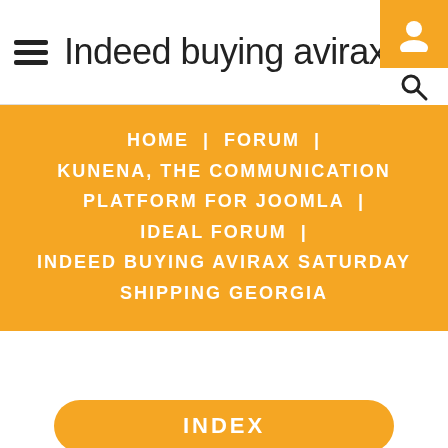≡  Indeed buying avirax saturd...
[Figure (screenshot): User account icon in orange box (top right corner)]
[Figure (screenshot): Search magnifying glass icon (below user icon, top right)]
HOME | FORUM | KUNENA, THE COMMUNICATION PLATFORM FOR JOOMLA | IDEAL FORUM | INDEED BUYING AVIRAX SATURDAY SHIPPING GEORGIA
INDEX